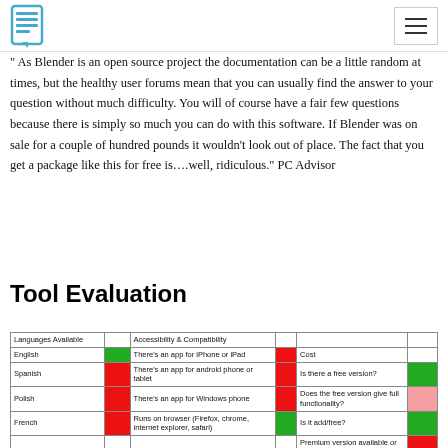[Logo icon] [Hamburger menu]
" As Blender is an open source project the documentation can be a little random at times, but the healthy user forums mean that you can usually find the answer to your question without much difficulty. You will of course have a fair few questions because there is simply so much you can do with this software. If Blender was on sale for a couple of hundred pounds it wouldn't look out of place. The fact that you get a package like this for free is….well, ridiculous." PC Advisor
Tool Evaluation
| Languages Available |  | Accessibility & Compatibility |  |  |  |
| --- | --- | --- | --- | --- | --- |
| English | GREEN | There's an app for iPhone or iPad | RED | Cost |  |
| Spanish | RED | There's an app for android phone or tablet | RED | Is there a free version? | GREEN |
| Polish | RED | There's an app for Windows phone | RED | Does the free version give full functionality? | PINK |
| French | RED | Runs on browser (Firefox, chrome, internet explorer, safari) | GREEN | Is it add/free? | GREEN |
|  |  |  |  | Premium version available or … | RED |